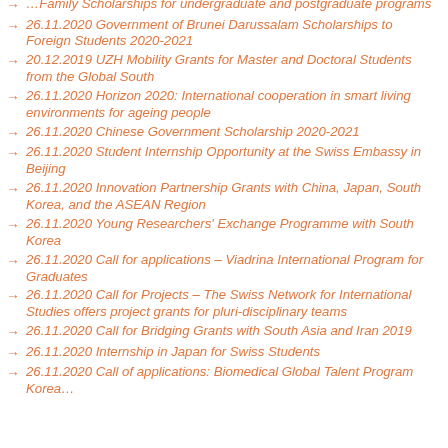… Family Scholarships for undergraduate and postgraduate programs
26.11.2020 Government of Brunei Darussalam Scholarships to Foreign Students 2020-2021
20.12.2019 UZH Mobility Grants for Master and Doctoral Students from the Global South
26.11.2020 Horizon 2020: International cooperation in smart living environments for ageing people
26.11.2020 Chinese Government Scholarship 2020-2021
26.11.2020 Student Internship Opportunity at the Swiss Embassy in Beijing
26.11.2020 Innovation Partnership Grants with China, Japan, South Korea, and the ASEAN Region
26.11.2020 Young Researchers' Exchange Programme with South Korea
26.11.2020 Call for applications – Viadrina International Program for Graduates
26.11.2020 Call for Projects – The Swiss Network for International Studies offers project grants for pluri-disciplinary teams
26.11.2020 Call for Bridging Grants with South Asia and Iran 2019
26.11.2020 Internship in Japan for Swiss Students
26.11.2020 Call of applications: Biomedical Global Talent Program Korea…